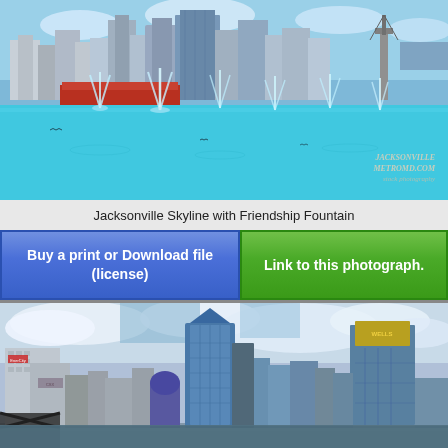[Figure (photo): Jacksonville skyline with Friendship Fountain in the foreground, showing city buildings against blue sky and bright blue water with water fountains spraying]
Jacksonville Skyline with Friendship Fountain
Buy a print or Download file (license)
Link to this photograph.
[Figure (photo): Jacksonville skyline viewed from across the river, showing downtown skyscrapers including a prominent blue glass tower and other modern buildings against a partly cloudy sky]